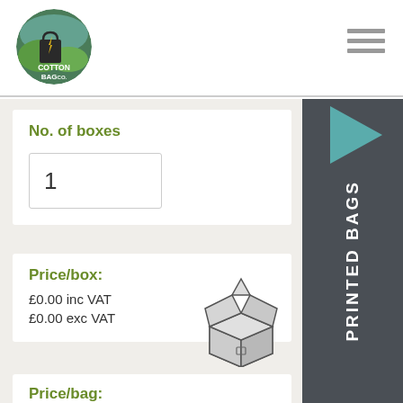[Figure (logo): Cotton Bag Co. circular logo with green background, shopping bag icon, and company text]
[Figure (infographic): Hamburger menu icon (three horizontal lines) in top right corner]
[Figure (infographic): Dark side panel with teal left-pointing triangle and 'PRINTED BAGS' vertical text]
No. of boxes
1
Price/box:
£0.00 inc VAT
£0.00 exc VAT
[Figure (illustration): Open cardboard box line drawing illustration]
Loading Image...
Price/bag: